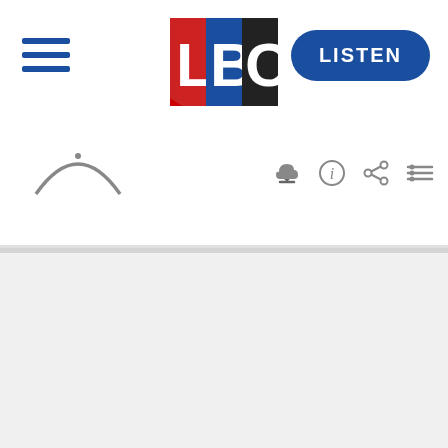[Figure (logo): LBC radio logo with red L, blue B, black C on white background]
[Figure (other): Hamburger menu icon (three horizontal blue lines)]
[Figure (other): LISTEN button (dark blue rounded pill shape with white bold text)]
[Figure (other): Audio player bar with smile/wave icon and player control icons (download, info, share, playlist)]
[Figure (other): Gray progress/loading bar beneath player]